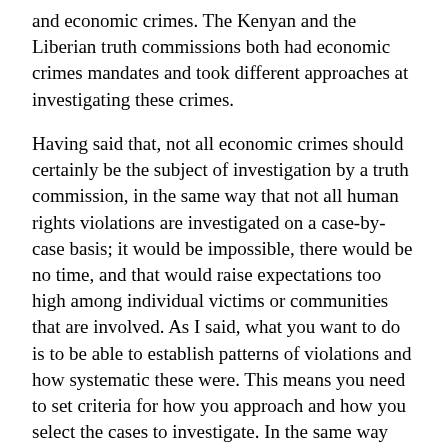and economic crimes. The Kenyan and the Liberian truth commissions both had economic crimes mandates and took different approaches at investigating these crimes.
Having said that, not all economic crimes should certainly be the subject of investigation by a truth commission, in the same way that not all human rights violations are investigated on a case-by-case basis; it would be impossible, there would be no time, and that would raise expectations too high among individual victims or communities that are involved. As I said, what you want to do is to be able to establish patterns of violations and how systematic these were. This means you need to set criteria for how you approach and how you select the cases to investigate. In the same way that we consider the massive and systematic character of human rights